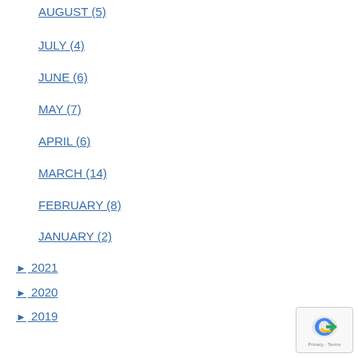AUGUST (5)
JULY (4)
JUNE (6)
MAY (7)
APRIL (6)
MARCH (14)
FEBRUARY (8)
JANUARY (2)
► 2021
► 2020
► 2019
► 2018
► 2017
► 2016